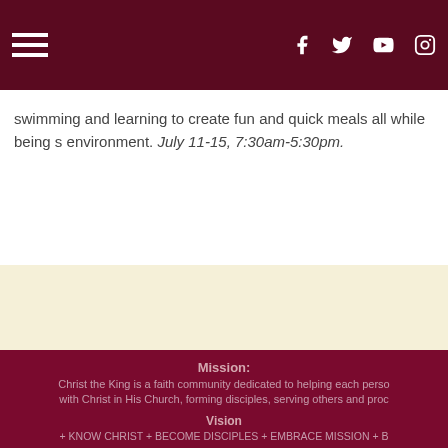Navigation header with hamburger menu and social icons (Facebook, Twitter, YouTube, Instagram)
swimming and learning to create fun and quick meals all while being s environment. July 11-15, 7:30am-5:30pm.
[Figure (other): Cream/beige colored banner section]
Mission: Christ the King is a faith community dedicated to helping each person with Christ in His Church, forming disciples, serving others and proc Vision + KNOW CHRIST + BECOME DISCIPLES + EMBRACE MISSION + 8005 Dorset, Nichols Hills 73120 (405) 842-1481 Login | powered by eCatholic®